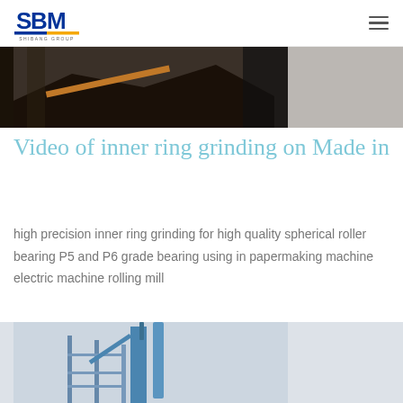SBM SHIBANG GROUP
[Figure (photo): Close-up industrial grinding machinery with dark background and orange/brown pipe or rod visible]
Video of inner ring grinding on Made in
high precision inner ring grinding for high quality spherical roller bearing P5 and P6 grade bearing using in papermaking machine electric machine rolling mill
[Figure (photo): Industrial facility with tall scaffolding structure and blue chimney or tower against a light grey sky]